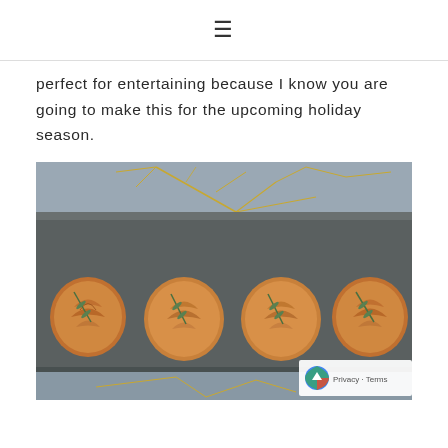≡
perfect for entertaining because I know you are going to make this for the upcoming holiday season.
[Figure (photo): Four rose-shaped potato pastries garnished with rosemary sprigs, arranged on a dark metal baking tray. Above and below the tray are decorative golden branches on a grey fabric background.]